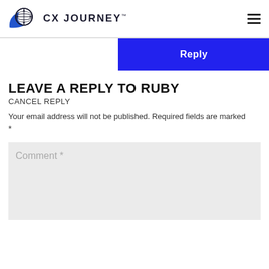CX JOURNEY™
[Figure (logo): CX Journey logo with compass/globe icon and stylized blue swoosh]
Reply
LEAVE A REPLY TO RUBY
CANCEL REPLY
Your email address will not be published. Required fields are marked *
Comment *